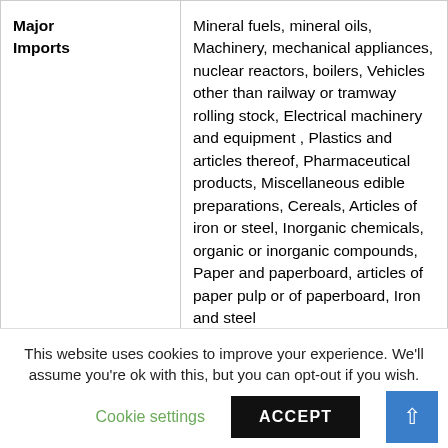|  |  |
| --- | --- |
| Major Imports | Mineral fuels, mineral oils, Machinery, mechanical appliances, nuclear reactors, boilers, Vehicles other than railway or tramway rolling stock, Electrical machinery and equipment , Plastics and articles thereof, Pharmaceutical products, Miscellaneous edible preparations, Cereals, Articles of iron or steel, Inorganic chemicals, organic or inorganic compounds, Paper and paperboard, articles of paper pulp or of paperboard, Iron and steel |
| Major Imports from India | Coffee, tea, maté and spices, Oil seeds and oleaginous fruits, miscellaneous grains, seeds and wood or of other fibrous cellulosic material, Pharmaceutical products, Essential oils and ... |
This website uses cookies to improve your experience. We'll assume you're ok with this, but you can opt-out if you wish.